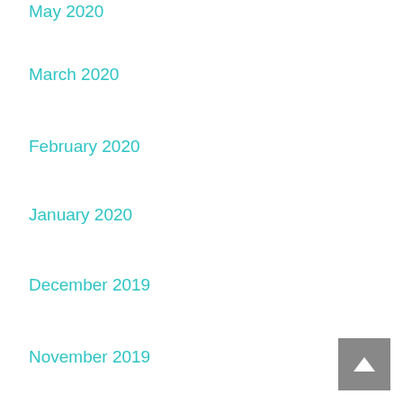May 2020
March 2020
February 2020
January 2020
December 2019
November 2019
October 2019
September 2019
August 2019
July 2019
June 2019
May 2019
April 2019
March 2019